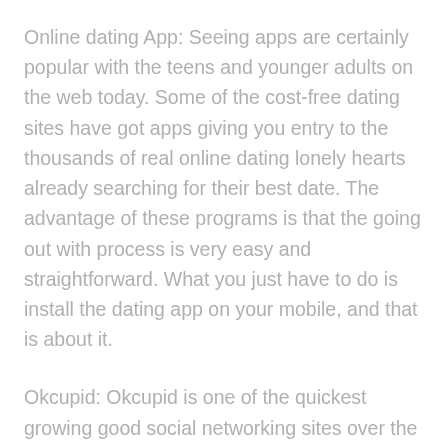Online dating App: Seeing apps are certainly popular with the teens and younger adults on the web today. Some of the cost-free dating sites have got apps giving you entry to the thousands of real online dating lonely hearts already searching for their best date. The advantage of these programs is that the going out with process is very easy and straightforward. What you just have to do is install the dating app on your mobile, and that is about it.
Okcupid: Okcupid is one of the quickest growing good social networking sites over the internet. Their particular free social networking app is an excellent way to meet others which have been in your same area of interest, and meet new friends. Their particular long-term dedication to consumer security is truly amazing. They already have also executed